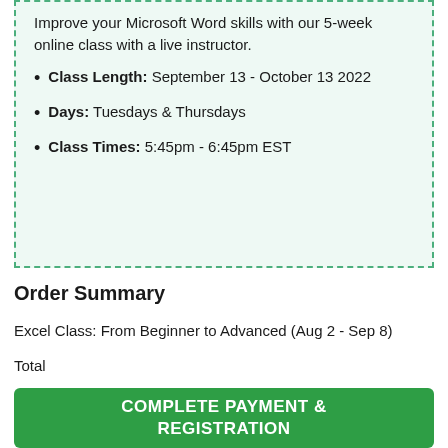Improve your Microsoft Word skills with our 5-week online class with a live instructor.
Class Length: September 13 - October 13 2022
Days: Tuesdays & Thursdays
Class Times: 5:45pm - 6:45pm EST
Order Summary
Excel Class: From Beginner to Advanced (Aug 2 - Sep 8)
Total
COMPLETE PAYMENT & REGISTRATION